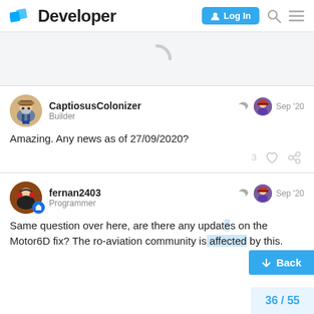Developer — Log In
[Figure (screenshot): Loading spinner (grey circular arc) in a light grey area]
CaptiosusColonizer
Builder
Sep '20
Amazing. Any news as of 27/09/2020?
fernan2403
Programmer
Sep '20
Same question over here, are there any updates on the Motor6D fix? The ro-aviation community is affected by this.
36 / 55